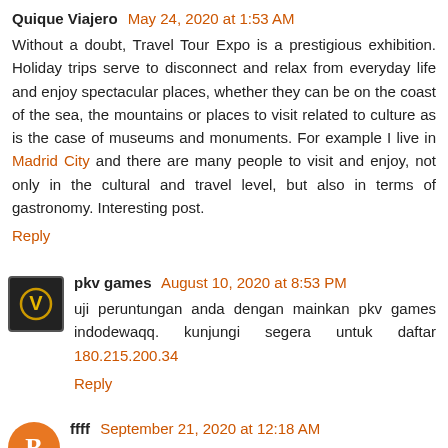Quique Viajero May 24, 2020 at 1:53 AM
Without a doubt, Travel Tour Expo is a prestigious exhibition. Holiday trips serve to disconnect and relax from everyday life and enjoy spectacular places, whether they can be on the coast of the sea, the mountains or places to visit related to culture as is the case of museums and monuments. For example I live in Madrid City and there are many people to visit and enjoy, not only in the cultural and travel level, but also in terms of gastronomy. Interesting post.
Reply
pkv games August 10, 2020 at 8:53 PM
uji peruntungan anda dengan mainkan pkv games indodewaqq. kunjungi segera untuk daftar 180.215.200.34
Reply
ffff September 21, 2020 at 12:18 AM